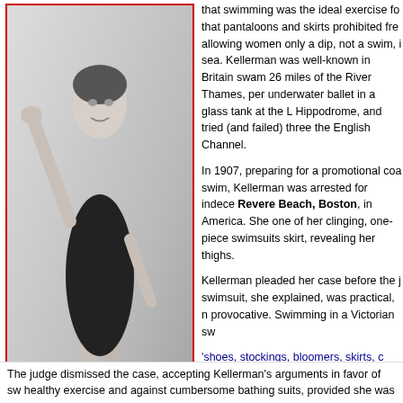[Figure (photo): 1907 black and white studio photo of Annette Kellerman, champion Australian swimmer and silent Hollywood film star, wearing a one-piece swimsuit, posed with arms raised.]
1907 studio photo of famous champion Australian swimmer and silent Hollywood film star, Annette Kellerman. Her contribution to women's liberation was her advocacy of a comfortable women's swimsuit.
that swimming was the ideal exercise fo... that pantaloons and skirts prohibited fre... allowing women only a dip, not a swim, i... sea. Kellerman was well-known in Britain... swam 26 miles of the River Thames, per... underwater ballet in a glass tank at the L... Hippodrome, and tried (and failed) three... the English Channel.
In 1907, preparing for a promotional coa... swim, Kellerman was arrested for indece... Revere Beach, Boston, in America. She... one of her clinging, one-piece swimsuits... skirt, revealing her thighs.
Kellerman pleaded her case before the j... swimsuit, she explained, was practical, n... provocative. Swimming in a Victorian sw...
'shoes, stockings, bloomers, skirts, c... dinky little cap,' she said, made as m... as 'swimming in lead chains.'"
The judge dismissed the case, accepting Kellerman's arguments in favor of sw... healthy exercise and against cumbersome bathing suits, provided she was...